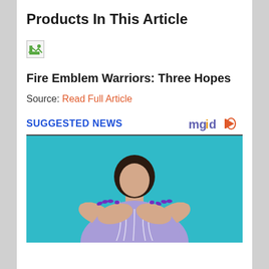Products In This Article
[Figure (photo): Broken/missing product image thumbnail]
Fire Emblem Warriors: Three Hopes
Source: Read Full Article
SUGGESTED NEWS
[Figure (photo): Woman in purple top with hands crossed on chest against teal/blue background]